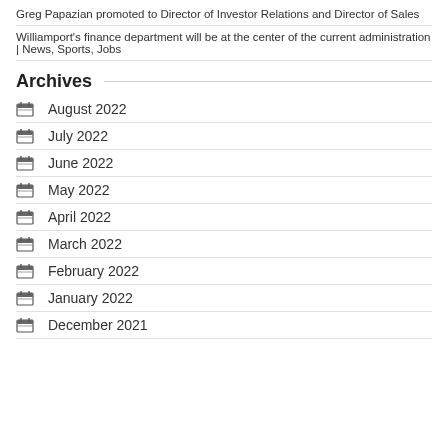Greg Papazian promoted to Director of Investor Relations and Director of Sales
Williamport's finance department will be at the center of the current administration | News, Sports, Jobs
Archives
August 2022
July 2022
June 2022
May 2022
April 2022
March 2022
February 2022
January 2022
December 2021